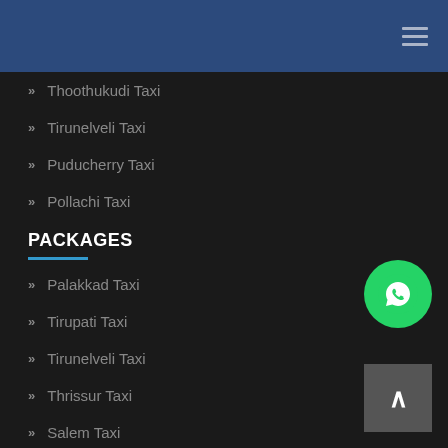Navigation menu header bar
Thoothukudi Taxi
Tirunelveli Taxi
Puducherry Taxi
Pollachi Taxi
PACKAGES
Palakkad Taxi
Tirupati Taxi
Tirunelveli Taxi
Thrissur Taxi
Salem Taxi
Pondicherry Airport
Namakkal Taxi
Madurai Airport